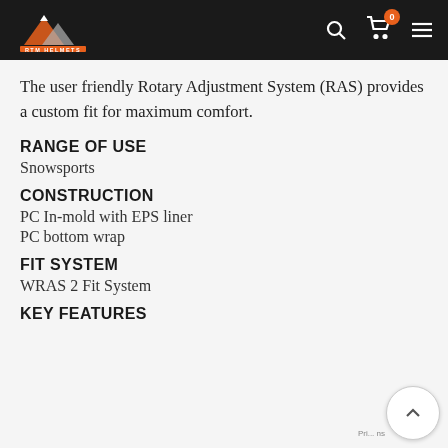RTM Helmets — navigation header with logo, search, cart (0), and menu icons
The user friendly Rotary Adjustment System (RAS) provides a custom fit for maximum comfort.
RANGE OF USE
Snowsports
CONSTRUCTION
PC In-mold with EPS liner
PC bottom wrap
FIT SYSTEM
WRAS 2 Fit System
KEY FEATURES